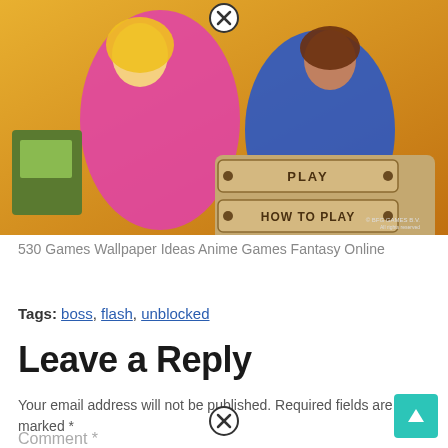[Figure (screenshot): Screenshot of a game titled showing anime characters holding bombs with menu buttons PLAY, HOW TO PLAY, MORE GAMES and AGAME.COM branding on an orange background]
530 Games Wallpaper Ideas Anime Games Fantasy Online
Tags: boss, flash, unblocked
Leave a Reply
Your email address will not be published. Required fields are marked *
Comment *